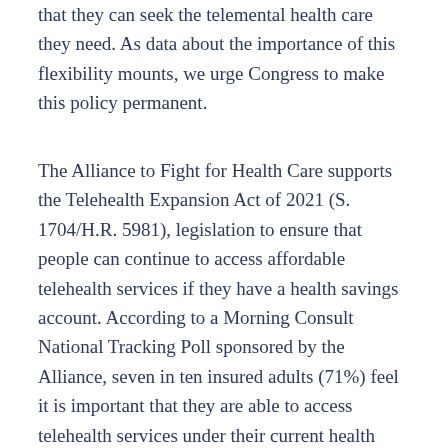that they can seek the telemental health care they need. As data about the importance of this flexibility mounts, we urge Congress to make this policy permanent.
The Alliance to Fight for Health Care supports the Telehealth Expansion Act of 2021 (S. 1704/H.R. 5981), legislation to ensure that people can continue to access affordable telehealth services if they have a health savings account. According to a Morning Consult National Tracking Poll sponsored by the Alliance, seven in ten insured adults (71%) feel it is important that they are able to access telehealth services under their current health care plan and 89%